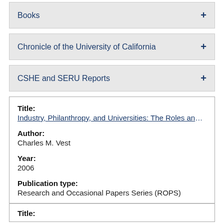Books
Chronicle of the University of California
CSHE and SERU Reports
Title:
Industry, Philanthropy, and Universities: The Roles and Influ
Author:
Charles M. Vest
Year:
2006
Publication type:
Research and Occasional Papers Series (ROPS)
Title: